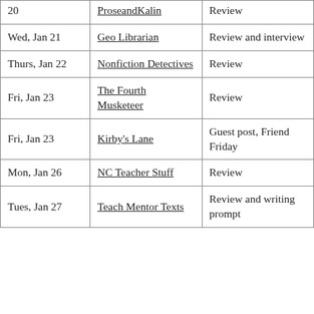| 20 | ProseandKalin | Review |
| Wed, Jan 21 | Geo Librarian | Review and interview |
| Thurs, Jan 22 | Nonfiction Detectives | Review |
| Fri, Jan 23 | The Fourth Musketeer | Review |
| Fri, Jan 23 | Kirby's Lane | Guest post, Friend Friday |
| Mon, Jan 26 | NC Teacher Stuff | Review |
| Tues, Jan 27 | Teach Mentor Texts | Review and writing prompt |